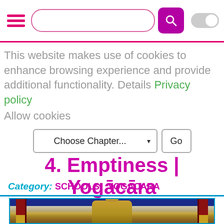[Navigation bar with hamburger menu, search field, and toggle switch]
This website makes use of cookies to enhance browsing experience and provide additional functionality. Details Privacy policy
Allow cookies
Choose Chapter...   Go
4. Emptiness | Yogācāra
Category: SCHOOLS   YOGACARA
[Figure (photo): Outdoor Buddha statue in gold, seated under a traditional pavilion with red pillars and blue roof, white building in background]